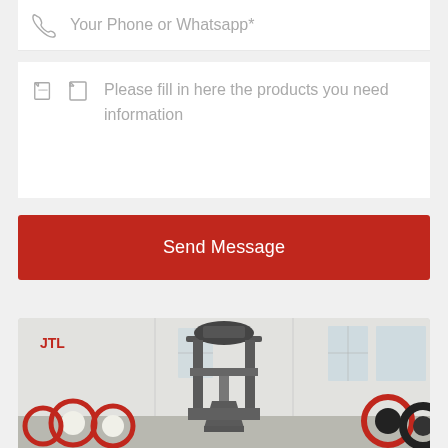Your Phone or Whatsapp*
Please fill in here the products you need information
Send Message
[Figure (photo): Industrial machinery equipment in a factory/warehouse setting — shows a large grey vertical press or crusher machine in the center with a hopper at the bottom, red and yellow industrial rollers/wheels on both sides, and a JIL logo on the wall in the background.]